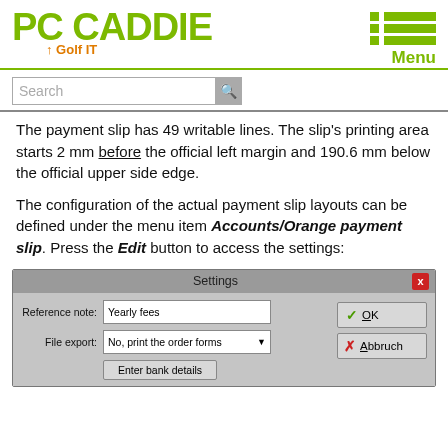[Figure (logo): PC CADDIE Golf IT logo in green with orange subtitle]
The payment slip has 49 writable lines. The slip's printing area starts 2 mm before the official left margin and 190.6 mm below the official upper side edge.
The configuration of the actual payment slip layouts can be defined under the menu item Accounts/Orange payment slip. Press the Edit button to access the settings:
[Figure (screenshot): Settings dialog with Reference note field showing 'Yearly fees', File export dropdown showing 'No, print the order forms', Enter bank details button, OK button, and Abbruch button]